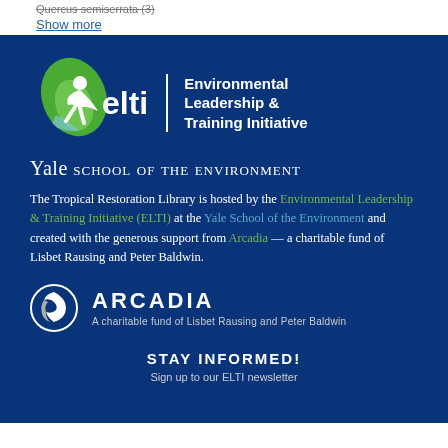Quercus semiserrata (3)
Show more
[Figure (logo): ELTI logo: a green leaf with a white human figure, beside text 'elti' and 'Environmental Leadership & Training Initiative']
Yale SCHOOL OF THE ENVIRONMENT
The Tropical Restoration Library is hosted by the Environmental Leadership & Training Initiative (ELTI) at the Yale School of the Environment and created with the generous support from Arcadia — a charitable fund of Lisbet Rausing and Peter Baldwin.
[Figure (logo): Arcadia logo: white circular icon with swoosh symbol, text 'ARCADIA' in bold white, subtitle 'A charitable fund of Lisbet Rausing and Peter Baldwin']
STAY INFORMED!
Sign up to our ELTI newsletter